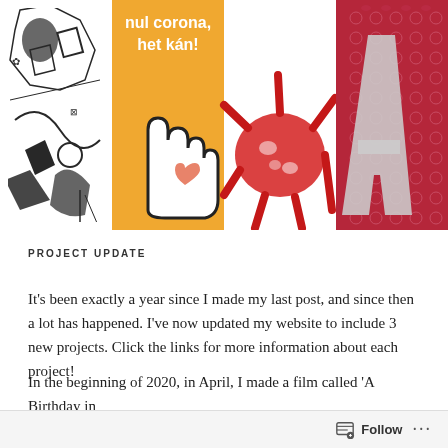[Figure (illustration): A collage of four artwork images side by side: 1) Black and white abstract print with figurative shapes, 2) Orange/yellow background with hand drawn outline of open hand with heart, text 'nul corona, het kán!' in white, 3) White background with red abstract corona virus illustration, 4) Grey fabric/textile with large letter A on dark red floral patterned background.]
PROJECT UPDATE
It's been exactly a year since I made my last post, and since then a lot has happened. I've now updated my website to include 3 new projects. Click the links for more information about each project!
In the beginning of 2020, in April, I made a film called 'A Birthday in